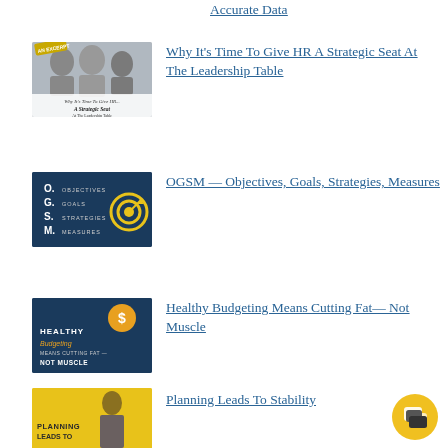Accurate Data
[Figure (illustration): Thumbnail for HR Strategic Seat article showing people in a meeting with text overlay 'Why It's Time To Give HR A Strategic Seat At The Leadership Table'. An Excerpt label in top-left corner.]
Why It's Time To Give HR A Strategic Seat At The Leadership Table
[Figure (infographic): Thumbnail showing OGSM acronym: O. Objectives, G. Goals, S. Strategies, M. Measures. Dark blue background with yellow target/bullseye icon on right.]
OGSM — Objectives, Goals, Strategies, Measures
[Figure (illustration): Thumbnail with dark blue background and text: HEALTHY Budgeting MEANS CUTTING FAT — NOT MUSCLE. Dollar sign icon visible.]
Healthy Budgeting Means Cutting Fat— Not Muscle
[Figure (photo): Thumbnail with yellow background showing a man and text: PLANNING LEADS TO]
Planning Leads To Stability